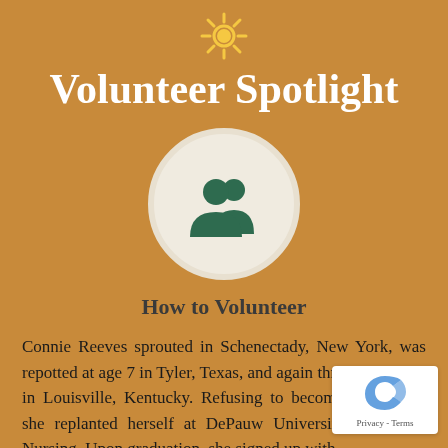Volunteer Spotlight
[Figure (illustration): Two person silhouette icon (group/community icon) in dark green inside a large white circle]
How to Volunteer
Connie Reeves sprouted in Schenectady, New York, was repotted at age 7 in Tyler, Texas, and again three years later in Louisville, Kentucky. Refusing to become rootbound, she replanted herself at DePauw University School of Nursing. Upon graduation, she signed up with the Army Nurse Corps. Her first assignment